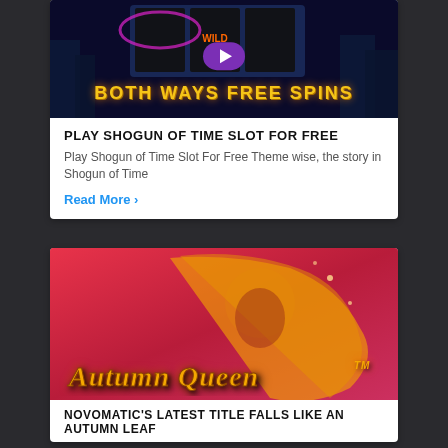[Figure (screenshot): Shogun of Time slot game screenshot showing 'BOTH WAYS FREE SPINS' text with purple play button on dark city background]
PLAY SHOGUN OF TIME SLOT FOR FREE
Play Shogun of Time Slot For Free Theme wise, the story in Shogun of Time
Read More ›
[Figure (illustration): Autumn Queen slot game artwork showing a woman with flowing red-golden hair on pink/red background with 'Autumn Queen TM' logo text]
NOVOMATIC'S LATEST TITLE FALLS LIKE AN AUTUMN LEAF